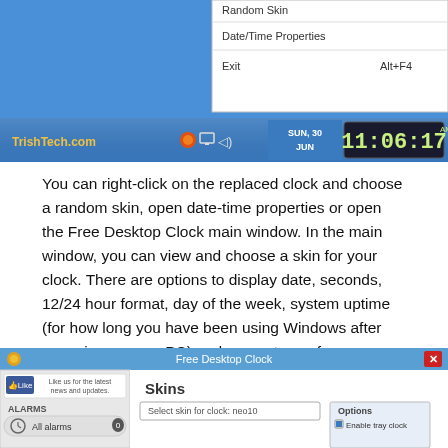[Figure (screenshot): Screenshot of a right-click context menu on a Windows taskbar showing options: Random Skin, Date/Time Properties, Exit (Alt+F4). Below it is a Windows taskbar with TrishTech.com label, system tray icons, date showing SUN, 30 JUN, and a digital clock showing 11:06:17 AM.]
You can right-click on the replaced clock and choose a random skin, open date-time properties or open the Free Desktop Clock main window. In the main window, you can view and choose a skin for your clock. There are options to display date, seconds, 12/24 hour format, day of the week, system uptime (for how long you have been using Windows after powering on your PC) and percentage of memory use.
[Figure (screenshot): Bottom portion of the Free Desktop Clock application window showing the title bar 'Free Desktop Clock', a Facebook Like button with 'Like us for the latest news and updates.', a left panel with ALARMS section showing 'All alarms', and a Skins panel on the right with a skin selector dropdown and Options section with 'Enable tray clock' checkbox.]